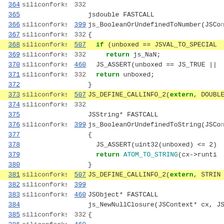| Line | User | Rev | Code |
| --- | --- | --- | --- |
| 364 | siliconforks | 332 |  |
| 365 |  |  | jsdouble FASTCALL |
| 366 | siliconforks | 399 | js_BooleanOrUndefinedToNumber(JSCo... |
| 367 | siliconforks | 332 | { |
| 368 | siliconforks | 507 |     if (unboxed == JSVAL_TO_SPECIAL... |
| 369 | siliconforks | 332 |         return js_NaN; |
| 370 | siliconforks | 460 |         JS_ASSERT(unboxed == JS_TRUE || |
| 371 | siliconforks | 332 |         return unboxed; |
| 372 |  |  | } |
| 373 | siliconforks | 507 | JS_DEFINE_CALLINFO_2(extern, DOUBLE... |
| 374 | siliconforks | 332 |  |
| 375 |  |  | JSString* FASTCALL |
| 376 | siliconforks | 399 | js_BooleanOrUndefinedToString(JSCo... |
| 377 |  |  | { |
| 378 |  |  |     JS_ASSERT(uint32(unboxed) <= 2) |
| 379 |  |  |     return ATOM_TO_STRING(cx->runti... |
| 380 |  |  | } |
| 381 | siliconforks | 507 | JS_DEFINE_CALLINFO_2(extern, STRIN... |
| 382 | siliconforks | 399 |  |
| 383 | siliconforks | 460 | JSObject* FASTCALL |
| 384 |  |  | js_NewNullClosure(JSContext* cx, JS... |
| 385 | siliconforks | 332 | { |
| 386 |  |  |  |